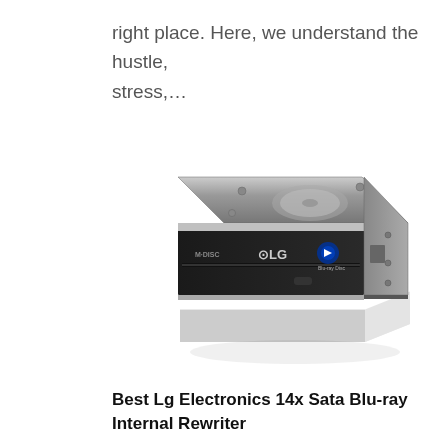right place. Here, we understand the hustle, stress,…
[Figure (photo): LG Electronics Blu-ray internal optical drive (disc rewriter), black, showing M-DISC and LG logos on the front panel, Blu-ray logo, viewed from a slight above-front angle with a mirror reflection below.]
Best Lg Electronics 14x Sata Blu-ray Internal Rewriter